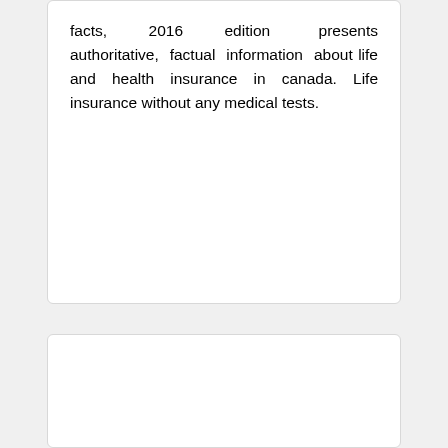facts, 2016 edition presents authoritative, factual information about life and health insurance in canada. Life insurance without any medical tests.